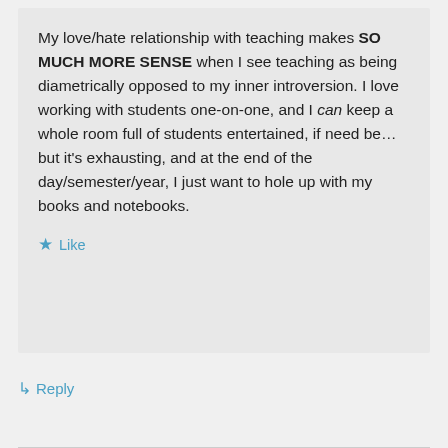My love/hate relationship with teaching makes SO MUCH MORE SENSE when I see teaching as being diametrically opposed to my inner introversion. I love working with students one-on-one, and I can keep a whole room full of students entertained, if need be…but it's exhausting, and at the end of the day/semester/year, I just want to hole up with my books and notebooks.
★ Like
↳ Reply